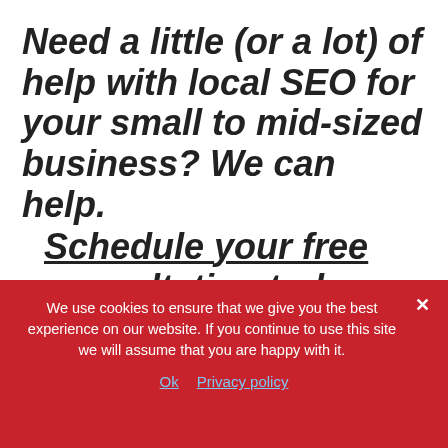Need a little (or a lot) of help with local SEO for your small to mid-sized business? We can help. Schedule your free consultation today.
[Figure (illustration): Three social media icon buttons: Facebook (blue), Twitter (light blue), LinkedIn (blue)]
We use cookies to ensure that we give you the best experience on our website. If you continue to use this site we will assume that you are happy with it.
Ok   Privacy policy